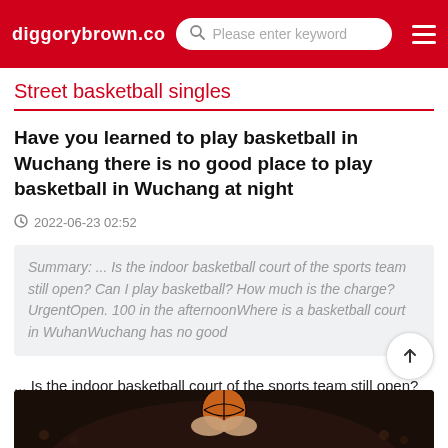diggorybrown.co  Please enter keyword
Street basketball singles
Have you learned to play basketball in Wuchang there is no good place to play basketball in Wuchang at night
2022-06-23 02:52
Summary: ... Is the indoor basketball court of the sports team still open? Can I play basketball? How much is the charge? UrgentOpen. 100 in the afternoonWhere is a basketball court in WuhanWuchang has no good
... Is the indoor basketball court of the sports team still open? Can I play basketball? How much is the c
[Figure (photo): Hands holding a basketball, dark background with crowd]